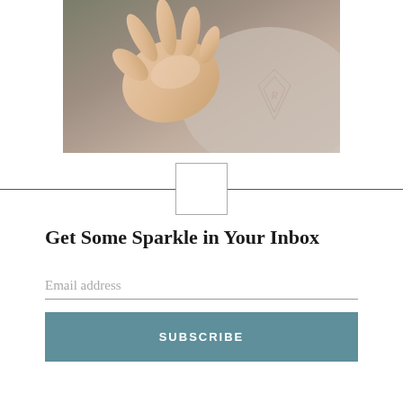[Figure (photo): Close-up photograph of a hand resting on a beige/taupe fabric pillow or cushion with an embroidered diamond-shaped monogram logo in the lower right]
[Figure (other): Decorative divider element: a horizontal rule with a small empty square/rectangle centered on it]
Get Some Sparkle in Your Inbox
Email address
SUBSCRIBE